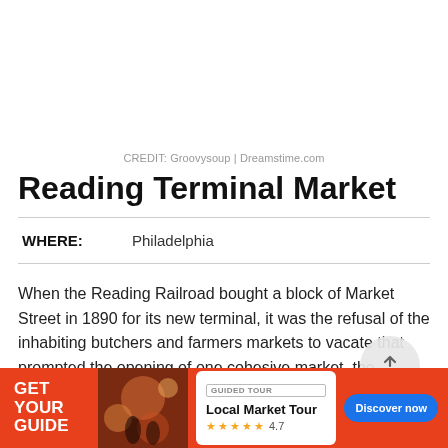CREDIT: Groovysoup | Dreamstime.com
Reading Terminal Market
WHERE:   Philadelphia
When the Reading Railroad bought a block of Market Street in 1890 for its new terminal, it was the refusal of the inhabiting butchers and farmers markets to vacate that prompted the opening of one cohesive market, the Reading Terminal Market, inside the new building. Today, the venue
[Figure (infographic): Advertisement banner for GetYourGuide featuring a Local Market Tour with 4.7 star rating and Discover now button]